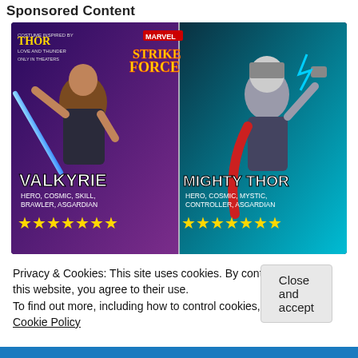Sponsored Content
[Figure (illustration): Marvel Strike Force game advertisement featuring Valkyrie (Hero, Cosmic, Skill, Brawler, Asgardian) with a blue sword and Mighty Thor (Hero, Cosmic, Mystic, Controller, Asgardian) with lightning hammer. Both characters have 7 gold stars. Thor: Love and Thunder movie tie-in branding visible. Purple and teal/green background.]
Privacy & Cookies: This site uses cookies. By continuing to use this website, you agree to their use.
To find out more, including how to control cookies, see here: Cookie Policy